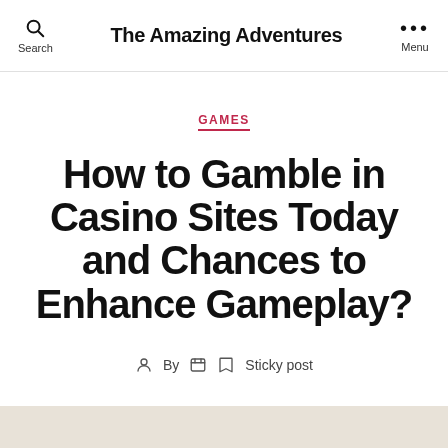The Amazing Adventures
GAMES
How to Gamble in Casino Sites Today and Chances to Enhance Gameplay?
By  Sticky post